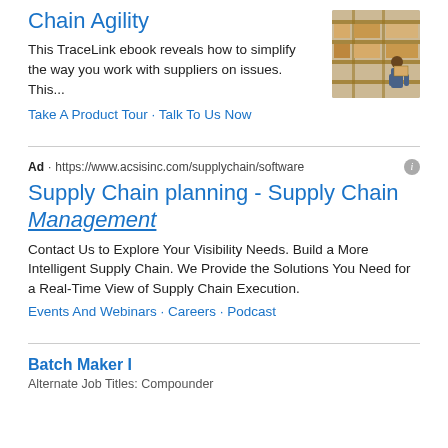Chain Agility
This TraceLink ebook reveals how to simplify the way you work with suppliers on issues. This...
Take A Product Tour · Talk To Us Now
[Figure (photo): Warehouse worker carrying a box in a storage facility with shelves of goods]
Ad · https://www.acsisinc.com/supplychain/software
Supply Chain planning - Supply Chain Management
Contact Us to Explore Your Visibility Needs. Build a More Intelligent Supply Chain. We Provide the Solutions You Need for a Real-Time View of Supply Chain Execution.
Events And Webinars · Careers · Podcast
Batch Maker I
Alternate Job Titles: Compounder